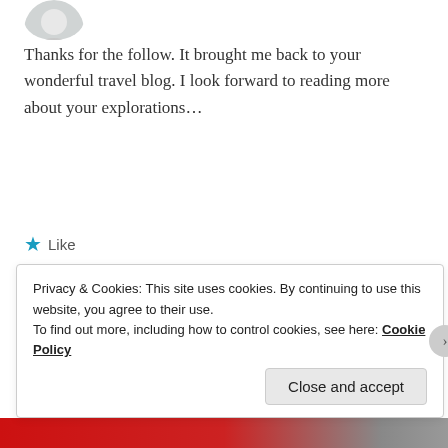[Figure (photo): Partial circular avatar image at top left, showing a white/gray circular profile photo cropped at top]
Thanks for the follow. It brought me back to your wonderful travel blog. I look forward to reading more about your explorations…
Like
[Figure (photo): Circular avatar photo of Victor Tribunsky wearing a white captain's hat and red shirt, blue sky background]
Victor Tribunsky
March 26, 2013 at 6:37 am
Reply
Privacy & Cookies: This site uses cookies. By continuing to use this website, you agree to their use.
To find out more, including how to control cookies, see here: Cookie Policy
Close and accept